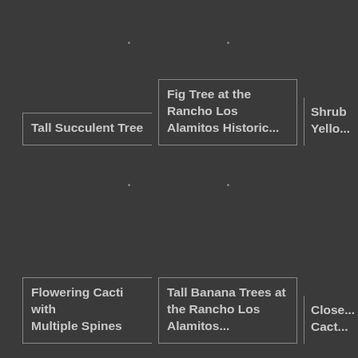Tall Succulent Tree
Fig Tree at the Rancho Los Alamitos Historic...
Shrub Yello...
Flowering Cacti with Multiple Spines
Tall Banana Trees at the Rancho Los Alamitos...
Close... Cact...